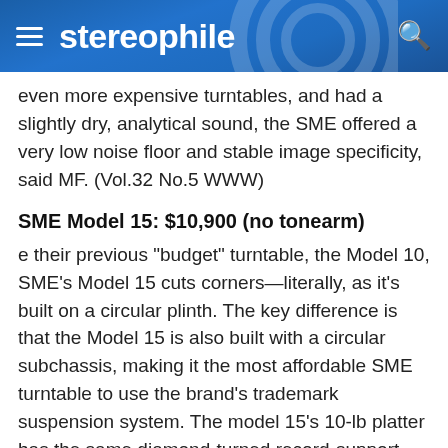stereophile
even more expensive turntables, and had a slightly dry, analytical sound, the SME offered a very low noise floor and stable image specificity, said MF. (Vol.32 No.5 WWW)
SME Model 15: $10,900 (no tonearm)
e their previous "budget" turntable, the Model 10, SME's Model 15 cuts corners—literally, as it's built on a circular plinth. The key difference is that the Model 15 is also built with a circular subchassis, making it the most affordable SME turntable to use the brand's trademark suspension system. The model 15's 10-lb platter has the same diamond-turned record-support surface as the costlier SMEs, and the microprocessor-based outboard controller for its